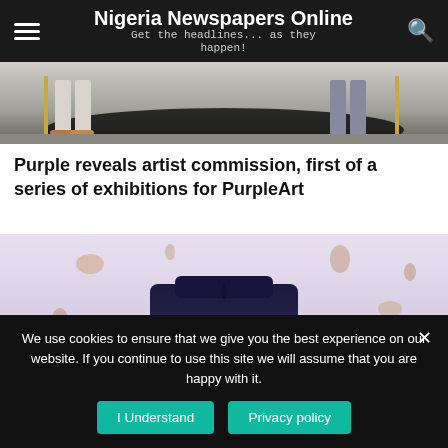Nigeria Newspapers Online — Get the headlines... as they happen!
[Figure (photo): Top portion of a photo showing people's legs and feet near a dark curved surface]
Purple reveals artist commission, first of a series of exhibitions for PurpleArt
[Figure (photo): Photo of a dark navy/black sculptural hat-like object on a pink/orange base against a pale purple background with scattered marks]
We use cookies to ensure that we give you the best experience on our website. If you continue to use this site we will assume that you are happy with it.